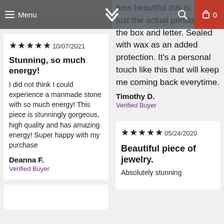Menu | [logo] | [search] | 0
★★★★★ 10/07/2021
Stunning, so much energy!
I did not think I could experience a manmade stone with so much energy! This piece is stunningly gorgeous, high quality and has amazing energy! Super happy with my purchase
Deanna F.
Verified Buyer
how beautiful this is. Not just the actual pendant, but the box and letter. Sealed with wax as an added protection. It's a personal touch like this that will keep me coming back everytime.
Timothy D.
Verified Buyer
★★★★★ 05/24/2020
Beautiful piece of jewelry.
Absolutely stunning